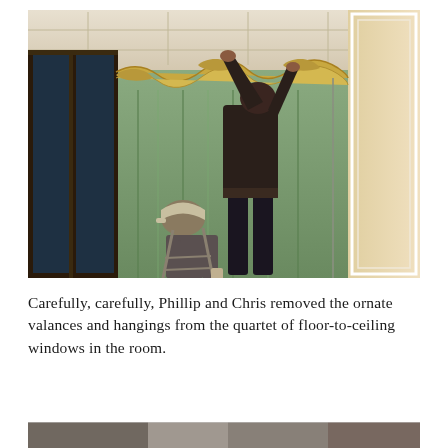[Figure (photo): A person in dark clothing stands on a ladder near the ceiling, removing ornate green and gold valances/curtain hangings from tall windows in an elegant room. Another person wearing a cap stands below, assisting.]
Carefully, carefully, Phillip and Chris removed the ornate valances and hangings from the quartet of floor-to-ceiling windows in the room.
[Figure (photo): Partial view of another photo at the bottom of the page, showing what appears to be people in a room.]